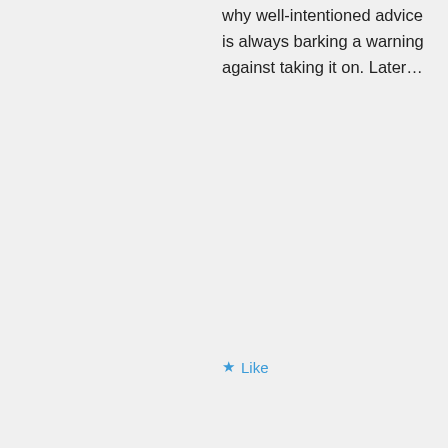why well-intentioned advice is always barking a warning against taking it on. Later…
★ Like
mrs fringe on May 26, 2013 at 3:26 pm
You know I'll never be able to resist a crown. Tell the howlers to toss me some emeralds, so